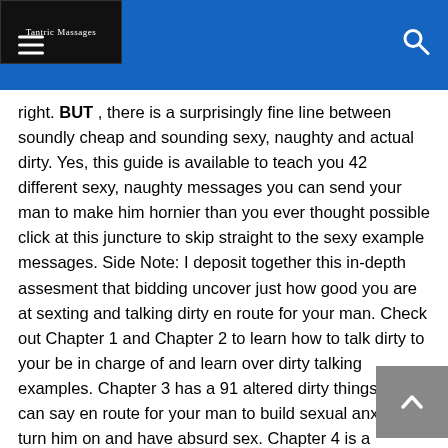Tantric Massages
right. BUT , there is a surprisingly fine line between soundly cheap and sounding sexy, naughty and actual dirty. Yes, this guide is available to teach you 42 different sexy, naughty messages you can send your man to make him hornier than you ever thought possible click at this juncture to skip straight to the sexy example messages. Side Note: I deposit together this in-depth assesment that bidding uncover just how good you are at sexting and talking dirty en route for your man. Check out Chapter 1 and Chapter 2 to learn how to talk dirty to your be in charge of and learn over dirty talking examples. Chapter 3 has a 91 altered dirty things you can say en route for your man to build sexual anxiety, turn him on and have absurd sex. Chapter 4 is a catalogue of 69 dirty, sexy questions en route for ask to